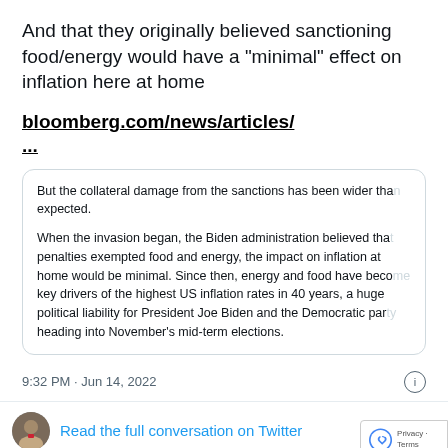And that they originally believed sanctioning food/energy would have a "minimal" effect on inflation here at home
bloomberg.com/news/articles/
...
[Figure (screenshot): Article preview card with text: 'But the collateral damage from the sanctions has been wider than expected. When the invasion began, the Biden administration believed that penalties exempted food and energy, the impact on inflation at home would be minimal. Since then, energy and food have become key drivers of the highest US inflation rates in 40 years, a huge political liability for President Joe Biden and the Democratic party heading into November's mid-term elections.']
9:32 PM · Jun 14, 2022
Read the full conversation on Twitter
2.7K   Reply   Copy link